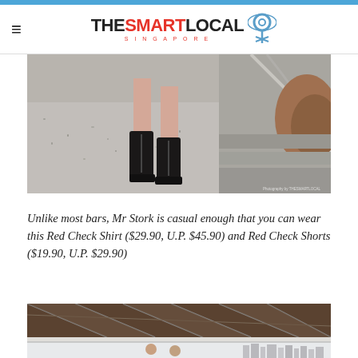THE SMART LOCAL SINGAPORE
[Figure (photo): Close-up photo of person's legs wearing black ankle boots, standing on a granite pavement. Concrete urban furniture visible in background.]
Unlike most bars, Mr Stork is casual enough that you can wear this Red Check Shirt ($29.90, U.P. $45.90) and Red Check Shorts ($19.90, U.P. $29.90)
[Figure (photo): Photo of a rooftop bar with geometric brown ceiling panels, glass railing, city skyline in background, two people visible.]